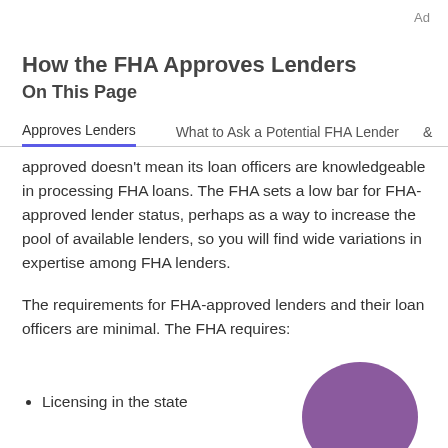Ad
How the FHA Approves Lenders
On This Page
Approves Lenders   What to Ask a Potential FHA Lender   &
approved doesn't mean its loan officers are knowledgeable in processing FHA loans. The FHA sets a low bar for FHA-approved lender status, perhaps as a way to increase the pool of available lenders, so you will find wide variations in expertise among FHA lenders.
The requirements for FHA-approved lenders and their loan officers are minimal. The FHA requires:
Licensing in the state